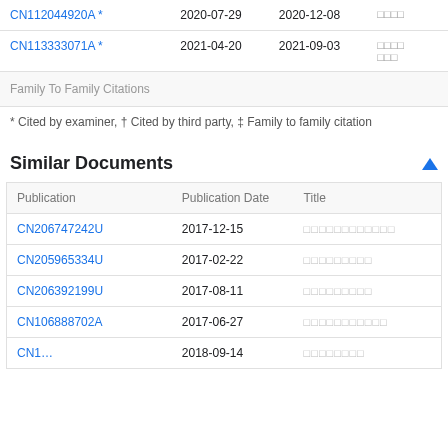| Publication | Priority Date | Filing Date | Assignee |
| --- | --- | --- | --- |
| CN112044920A * | 2020-07-29 | 2020-12-08 | □□□□ |
| CN113333071A * | 2021-04-20 | 2021-09-03 | □□□□□□□ |
| Family To Family Citations |  |  |  |
* Cited by examiner, † Cited by third party, ‡ Family to family citation
Similar Documents
| Publication | Publication Date | Title |
| --- | --- | --- |
| CN206747242U | 2017-12-15 | □□□□□□□□□□□□ |
| CN205965334U | 2017-02-22 | □□□□□□□□□ |
| CN206392199U | 2017-08-11 | □□□□□□□□□ |
| CN106888702A | 2017-06-27 | □□□□□□□□□□□ |
| CN108585364A | 2018-09-14 | □□□□□□□□ |